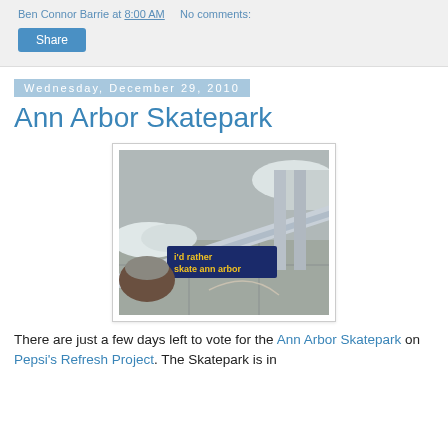Ben Connor Barrie at 8:00 AM    No comments:
Share
Wednesday, December 29, 2010
Ann Arbor Skatepark
[Figure (photo): Photo of a snowy skatepark railing with a sticker that reads 'i'd rather skate ann arbor']
There are just a few days left to vote for the Ann Arbor Skatepark on Pepsi's Refresh Project. The Skatepark is in